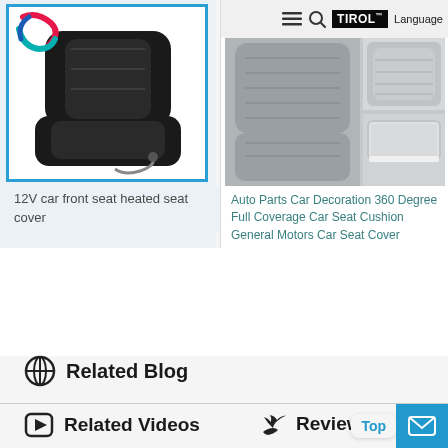[Figure (screenshot): Left product card: black heated car seat cover with cable, shown against white background with blue border. Has a colorful swirl logo in top-left corner.]
12V car front seat heated seat cover
[Figure (screenshot): Right product card area with TIROL brand logo in black, hamburger menu icon, search icon, and Language text in header. Shows grey car seat cushion product images.]
Auto Parts Car Decoration 360 Degree Full Coverage Car Seat Cushion General Motors Car Seat Cover
Related Blog
Related Videos
Reviews